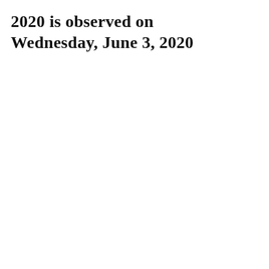2020 is observed on Wednesday, June 3, 2020